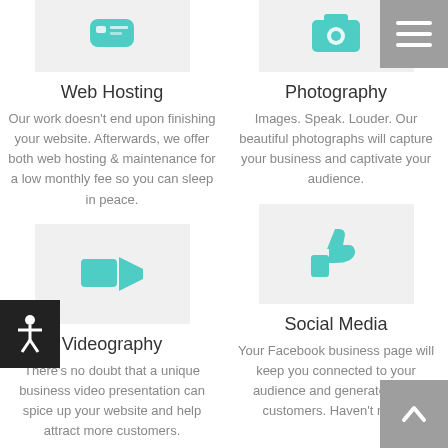[Figure (illustration): Web Hosting icon (partially visible at top) - teal icon on grey background]
[Figure (illustration): Photography icon (partially visible at top) - teal camera/aperture icon on grey background]
[Figure (other): Hamburger menu button - grey square with three white horizontal lines]
Web Hosting
Our work doesn’t end upon finishing your website. Afterwards, we offer both web hosting & maintenance for a low monthly fee so you can sleep in peace.
Photography
Images. Speak. Louder. Our beautiful photographs will capture your business and captivate your audience.
[Figure (other): Accessibility icon - white person figure on black background]
[Figure (illustration): Videography icon - teal video camera icon on grey background]
[Figure (illustration): Social Media icon - teal thumbs up icon on grey background]
Videography
There’s no doubt that a unique business video presentation can spice up your website and help attract more customers.
Social Media
Your Facebook business page will keep you connected to your audience and generate more customers. Haven’t made
[Figure (other): Scroll to top button - grey square with white upward arrow]